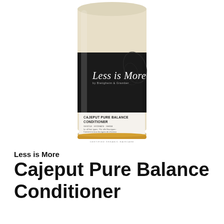[Figure (photo): Product photo of Less is More Cajeput Pure Balance Conditioner bottle. The bottle has a cream/beige color with a black label featuring the 'Less is More' brand in cursive script. Below the brand name on the label is text reading 'CAJEPUT PURE BALANCE CONDITIONER' with additional small text about hair types in multiple languages. The bottom of the bottle has a gold/yellow accent band.]
Less is More
Cajeput Pure Balance Conditioner